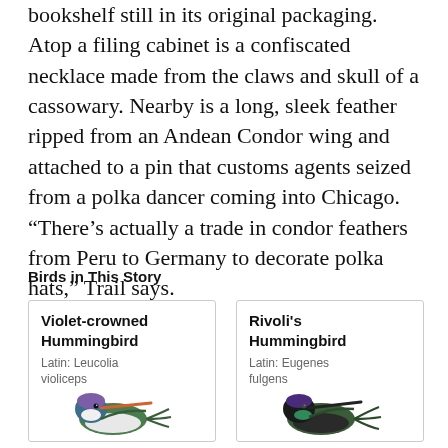bookshelf still in its original packaging. Atop a filing cabinet is a confiscated necklace made from the claws and skull of a cassowary. Nearby is a long, sleek feather ripped from an Andean Condor wing and attached to a pin that customs agents seized from a polka dancer coming into Chicago. “There’s actually a trade in condor feathers from Peru to Germany to decorate polka hats,” Trail says.
Birds in This Story
[Figure (illustration): Card showing Violet-crowned Hummingbird with Latin name Leucolia violiceps and an illustration of the bird]
[Figure (illustration): Card showing Rivoli's Hummingbird with Latin name Eugenes fulgens and an illustration of the bird]